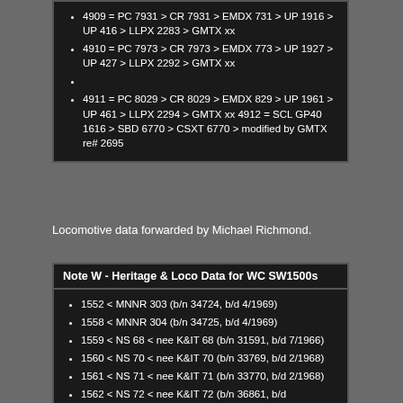4909 = PC 7931 > CR 7931 > EMDX 731 > UP 1916 > UP 416 > LLPX 2283 > GMTX xx
4910 = PC 7973 > CR 7973 > EMDX 773 > UP 1927 > UP 427 > LLPX 2292 > GMTX xx
4911 = PC 8029 > CR 8029 > EMDX 829 > UP 1961 > UP 461 > LLPX 2294 > GMTX xx 4912 = SCL GP40 1616 > SBD 6770 > CSXT 6770 > modified by GMTX re# 2695
Locomotive data forwarded by Michael Richmond.
Note W - Heritage & Loco Data for WC SW1500s
1552 < MNNR 303 (b/n 34724, b/d 4/1969)
1558 < MNNR 304 (b/n 34725, b/d 4/1969)
1559 < NS 68 < nee K&IT 68 (b/n 31591, b/d 7/1966)
1560 < NS 70 < nee K&IT 70 (b/n 33769, b/d 2/1968)
1561 < NS 71 < nee K&IT 71 (b/n 33770, b/d 2/1968)
1562 < NS 72 < nee K&IT 72 (b/n 36861, b/d